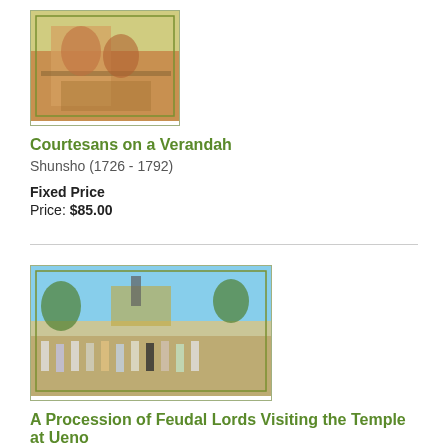[Figure (illustration): Japanese woodblock print showing courtesans on a verandah, with figures in traditional dress in warm ochre and green tones, bordered with olive green frame]
Courtesans on a Verandah
Shunsho (1726 - 1792)
Fixed Price
Price: $85.00
[Figure (illustration): Japanese woodblock print depicting a procession of feudal lords visiting the temple at Ueno, with many figures in traditional garb, trees, and buildings in the background, light blue sky]
A Procession of Feudal Lords Visiting the Temple at Ueno
Chikanobu (1838 - 1912)
Beautiful burnished detail
Fixed Price